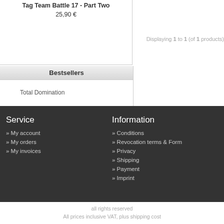Tag Team Battle 17 - Part Two
25,90 €
Displaying 1 to 1 (of 1 products)
Bestsellers
Total Domination
Service
» My account
» My orders
» My invoices
Information
» Conditions
» Revocation terms & Form
» Privacy
» Shipping
» Payment
» Imprint
all rights reserved
All prices inclusive VAT, plus shipping cost